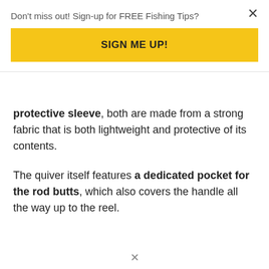Don't miss out! Sign-up for FREE Fishing Tips?
SIGN ME UP!
protective sleeve, both are made from a strong fabric that is both lightweight and protective of its contents.
The quiver itself features a dedicated pocket for the rod butts, which also covers the handle all the way up to the reel.